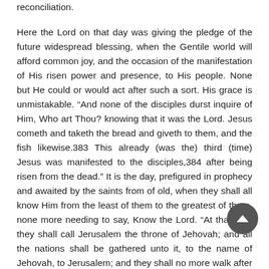reconciliation.
Here the Lord on that day was giving the pledge of the future widespread blessing, when the Gentile world will afford common joy, and the occasion of the manifestation of His risen power and presence, to His people. None but He could or would act after such a sort. His grace is unmistakable. “And none of the disciples durst inquire of Him, Who art Thou? knowing that it was the Lord. Jesus cometh and taketh the bread and giveth to them, and the fish likewise.383 This already (was the) third (time) Jesus was manifested to the disciples,384 after being risen from the dead.” It is the day, prefigured in prophecy and awaited by the saints from of old, when they shall all know Him from the least of them to the greatest of them, none more needing to say, Know the Lord. “At that time they shall call Jerusalem the throne of Jehovah; and all the nations shall be gathered unto it, to the name of Jehovah, to Jerusalem; and they shall no more walk after the stubbornness of their evil heart. In those days the house of Judah shall walk with the house of Israel; and they shall come